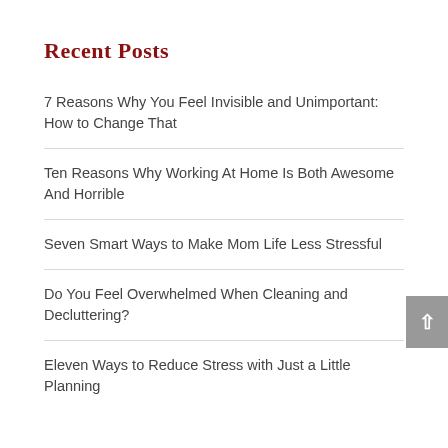Recent Posts
7 Reasons Why You Feel Invisible and Unimportant: How to Change That
Ten Reasons Why Working At Home Is Both Awesome And Horrible
Seven Smart Ways to Make Mom Life Less Stressful
Do You Feel Overwhelmed When Cleaning and Decluttering?
Eleven Ways to Reduce Stress with Just a Little Planning